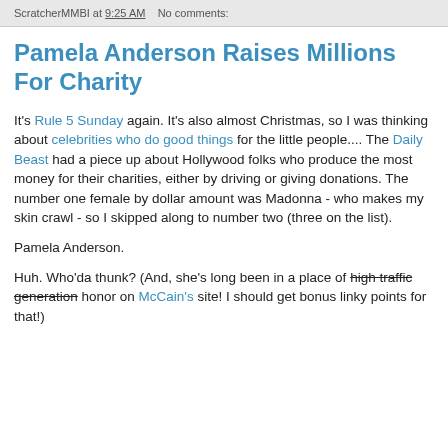ScratcherMMBI at 9:25 AM   No comments:
Pamela Anderson Raises Millions For Charity
It's Rule 5 Sunday again. It's also almost Christmas, so I was thinking about celebrities who do good things for the little people.... The Daily Beast had a piece up about Hollywood folks who produce the most money for their charities, either by driving or giving donations. The number one female by dollar amount was Madonna - who makes my skin crawl - so I skipped along to number two (three on the list).
Pamela Anderson.
Huh. Who'da thunk? (And, she's long been in a place of high traffic generation honor on McCain's site! I should get bonus linky points for that!)